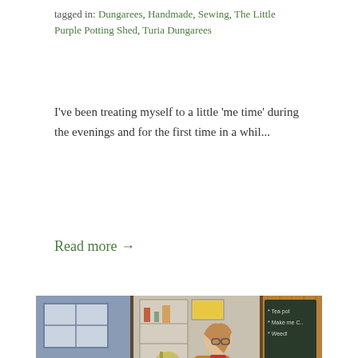tagged in: Dungarees, Handmade, Sewing, The Little Purple Potting Shed, Turia Dungarees
I've been treating myself to a little 'me time' during the evenings and for the first time in a whil...
Read more →
[Figure (photo): A woman wearing dungarees and a mustard sweater sits in a small shed or potting shed workspace, holding a plate. Behind her is a shelf with a kettle and other items. To the left is a blue painted wooden exterior. To the right is a wooden interior with a chalkboard showing handwritten text.]